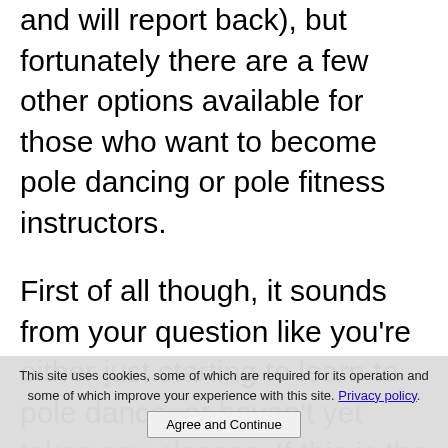and will report back), but fortunately there are a few other options available for those who want to become pole dancing or pole fitness instructors.
First of all though, it sounds from your question like you're either just starting to learn to pole dance, or haven't yet taken any classes. If this is the case, I strongly recommend that you get yourself to an intermediate level first, before you start taking pole dance instructor training
This site uses cookies, some of which are required for its operation and some of which improve your experience with this site. Privacy policy Agree and Continue